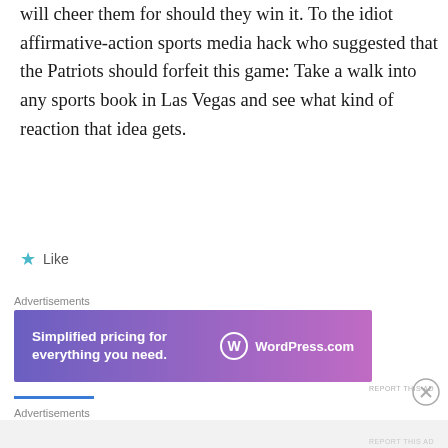will cheer them for should they win it. To the idiot affirmative-action sports media hack who suggested that the Patriots should forfeit this game: Take a walk into any sports book in Las Vegas and see what kind of reaction that idea gets.
★ Like
Advertisements
[Figure (screenshot): WordPress.com advertisement banner with text 'Simplified pricing for everything you need.' and WordPress.com logo on a purple-to-pink gradient background.]
REPORT THIS AD
Advertisements
REPORT THIS AD